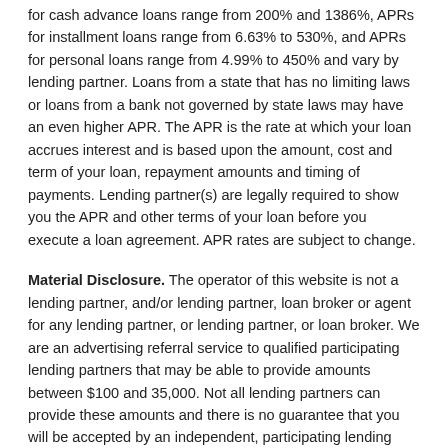for cash advance loans range from 200% and 1386%, APRs for installment loans range from 6.63% to 530%, and APRs for personal loans range from 4.99% to 450% and vary by lending partner. Loans from a state that has no limiting laws or loans from a bank not governed by state laws may have an even higher APR. The APR is the rate at which your loan accrues interest and is based upon the amount, cost and term of your loan, repayment amounts and timing of payments. Lending partner(s) are legally required to show you the APR and other terms of your loan before you execute a loan agreement. APR rates are subject to change.
Material Disclosure. The operator of this website is not a lending partner, and/or lending partner, loan broker or agent for any lending partner, or lending partner, or loan broker. We are an advertising referral service to qualified participating lending partners that may be able to provide amounts between $100 and 35,000. Not all lending partners can provide these amounts and there is no guarantee that you will be accepted by an independent, participating lending partners. This service does not constitute an offer or solicitation for loan products which are prohibited by any state law. This is not a solicitation for a particular loan and is not an offer to lend. We do not endorse or charge